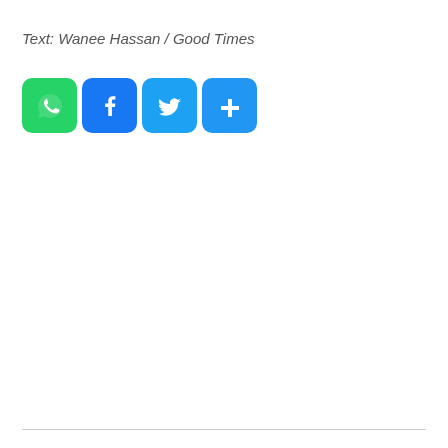Text: Wanee Hassan / Good Times
[Figure (infographic): Four social media share buttons in a row: WhatsApp (green), Facebook (blue), Twitter (blue), and a More/Share button (blue), each displayed as rounded square icons with white symbols.]